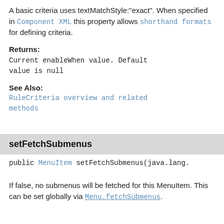A basic criteria uses textMatchStyle:"exact". When specified in Component XML this property allows shorthand formats for defining criteria.
Returns:
Current enableWhen value. Default value is null
See Also:
RuleCriteria overview and related methods
setFetchSubmenus
public MenuItem setFetchSubmenus(java.lang.
If false, no submenus will be fetched for this MenuItem. This can be set globally via Menu.fetchSubmenus.